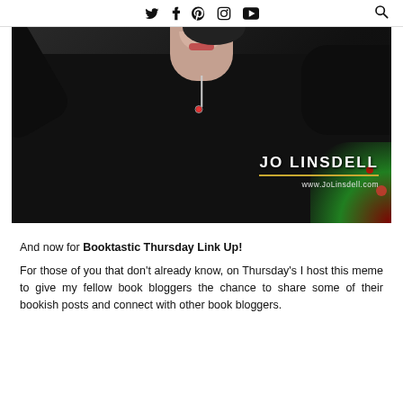Social media icons: Twitter, Facebook, Pinterest, Instagram, YouTube, Search
[Figure (photo): Jo Linsdell smiling, wearing black outfit with red heart necklace, Christmas decorations visible in the background. Overlay text: JO LINSDELL, www.JoLinsdell.com]
And now for Booktastic Thursday Link Up!
For those of you that don't already know, on Thursday's I host this meme to give my fellow book bloggers the chance to share some of their bookish posts and connect with other book bloggers.